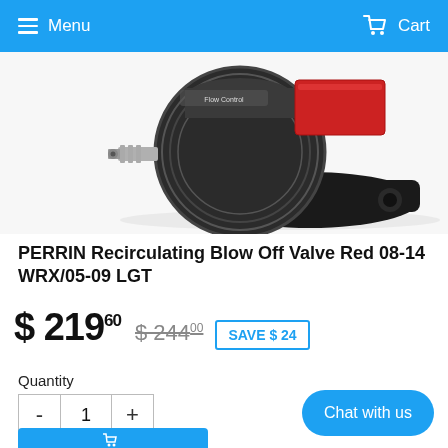Menu  Cart
[Figure (photo): Close-up photo of a PERRIN Recirculating Blow Off Valve in black with red accent piece, showing Flow Control label, metal barb fitting, and mounting flange on white background]
PERRIN Recirculating Blow Off Valve Red 08-14 WRX/05-09 LGT
$ 219.60  $ 244.00  SAVE $ 24
Quantity
- 1 +
Chat with us